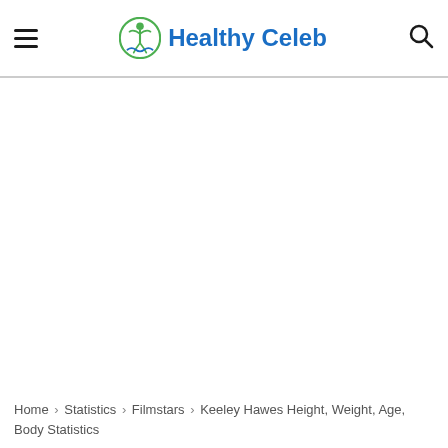Healthy Celeb
Home › Statistics › Filmstars › Keeley Hawes Height, Weight, Age, Body Statistics